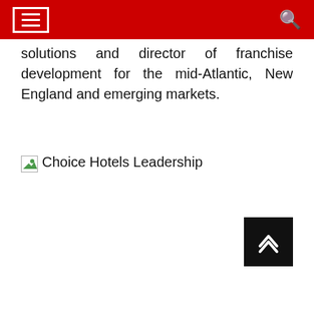[Navigation header with hamburger menu and search icon]
solutions and director of franchise development for the mid-Atlantic, New England and emerging markets.
[Figure (photo): Broken image placeholder labeled 'Choice Hotels Leadership']